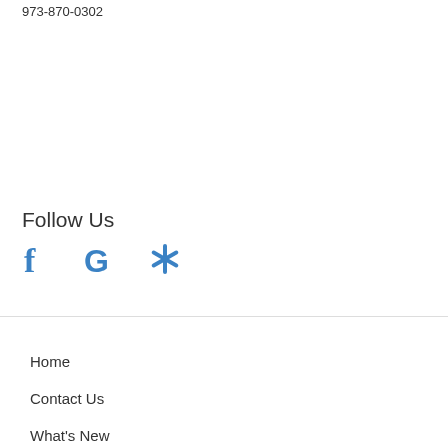973-870-0302
Follow Us
[Figure (illustration): Three social media icons in blue: Facebook (f), Google (G), and Yelp (asterisk/flower symbol)]
Home
Contact Us
What's New